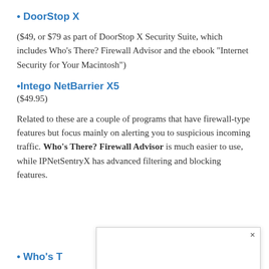• DoorStop X
($49, or $79 as part of DoorStop X Security Suite, which includes Who's There? Firewall Advisor and the ebook “Internet Security for Your Macintosh”)
•Intego NetBarrier X5
($49.95)
Related to these are a couple of programs that have firewall-type features but focus mainly on alerting you to suspicious incoming traffic. Who's There? Firewall Advisor is much easier to use, while IPNetSentryX has advanced filtering and blocking features.
• Who's T